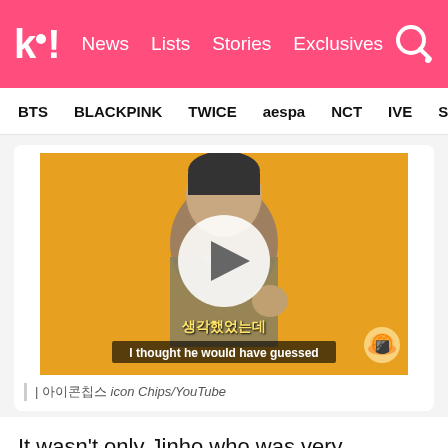k! News Lists Stories Exclusives
BTS BLACKPINK TWICE aespa NCT IVE Stray
[Figure (screenshot): Video thumbnail showing a person in a patterned jacket against a yellow/orange background, with a play button overlay. Korean subtitle text '생각했었는데' and English subtitle 'I thought he would have guessed' visible at the bottom.]
| 아이콘칩스 icon Chips/YouTube
It wasn't only Jinho who was very emotional during the performance, and Wooseok explained that the members were both happy and ...